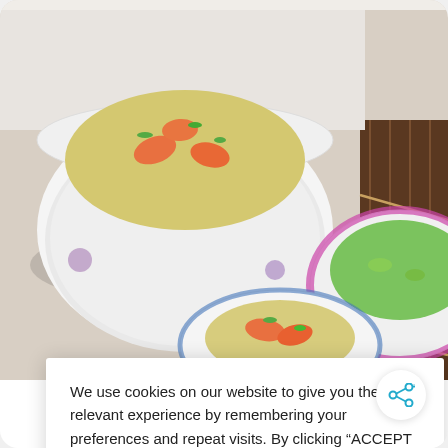[Figure (photo): Food photo showing bowls of shrimp fried rice with green onions, served in decorative blue and white Chinese bowls on a wooden mat background.]
We use cookies on our website to give you the most relevant experience by remembering your preferences and repeat visits. By clicking “ACCEPT ALL”, you consent to the use of ALL the cookies. However, you may visit “Cookie Settings” to provide a controlled consent.
Cookie Settings
REJECT ALL
ACCEPT ALL
ce- How
ne